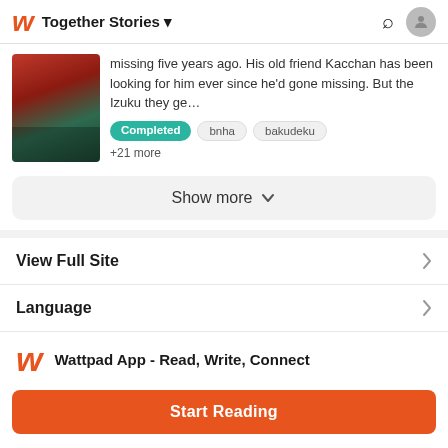Together Stories
missing five years ago. His old friend Kacchan has been looking for him ever since he'd gone missing. But the Izuku they ge…
Completed   bnha   bakudeku
+21 more
Show more
View Full Site
Language
Wattpad App - Read, Write, Connect
Start Reading
Log in with Browser